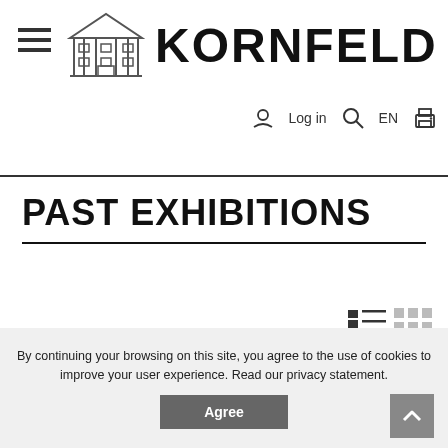KORNFELD
PAST EXHIBITIONS
Register
Login
FAQ Buyer
FAQ Live Auction
FAQ myKORNFELD
By continuing your browsing on this site, you agree to the use of cookies to improve your user experience. Read our privacy statement.
Agree